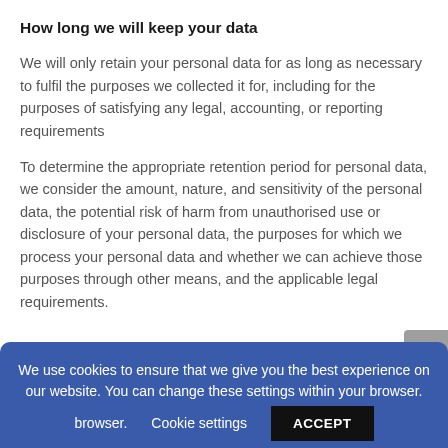How long we will keep your data
We will only retain your personal data for as long as necessary to fulfil the purposes we collected it for, including for the purposes of satisfying any legal, accounting, or reporting requirements
To determine the appropriate retention period for personal data, we consider the amount, nature, and sensitivity of the personal data, the potential risk of harm from unauthorised use or disclosure of your personal data, the purposes for which we process your personal data and whether we can achieve those purposes through other means, and the applicable legal requirements.
We use cookies to ensure that we give you the best experience on our website. You can change these settings within your browser.
Cookie settings
ACCEPT